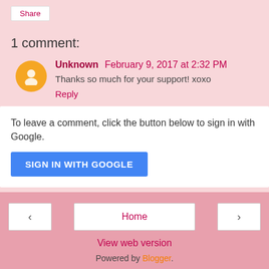Share
1 comment:
Unknown  February 9, 2017 at 2:32 PM
Thanks so much for your support! xoxo
Reply
To leave a comment, click the button below to sign in with Google.
SIGN IN WITH GOOGLE
< | Home | >
View web version
Powered by Blogger.